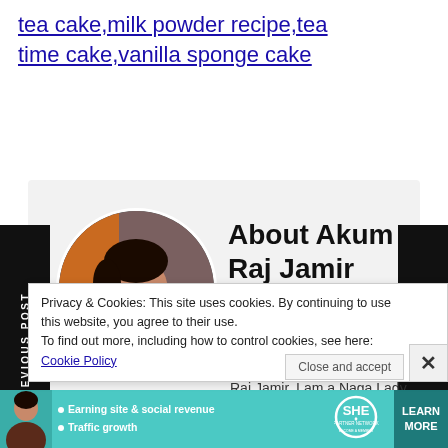tea cake,milk powder recipe,tea time cake,vanilla sponge cake
[Figure (photo): Circular portrait photo of Akum Raj Jamir, a Naga woman with dark hair and a warm smile, wearing dark clothing against a blurred background.]
About Akum Raj Jamir
Administrator
Hello Everyone.. I am Akum Raj Jamir. I am a Naga Lady born and bought up from Nagaland. Married
PREVIOUS POST
NEXT POST
Privacy & Cookies: This site uses cookies. By continuing to use this website, you agree to their use.
To find out more, including how to control cookies, see here: Cookie Policy
Close and accept
[Figure (infographic): Advertisement banner for SHE Partner Network with text: Earning site & social revenue, Traffic growth, SHE PARTNER NETWORK BECOME A MEMBER, LEARN MORE button.]